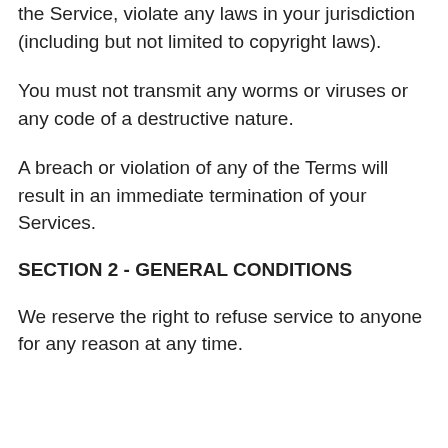the Service, violate any laws in your jurisdiction (including but not limited to copyright laws).
You must not transmit any worms or viruses or any code of a destructive nature.
A breach or violation of any of the Terms will result in an immediate termination of your Services.
SECTION 2 - GENERAL CONDITIONS
We reserve the right to refuse service to anyone for any reason at any time.